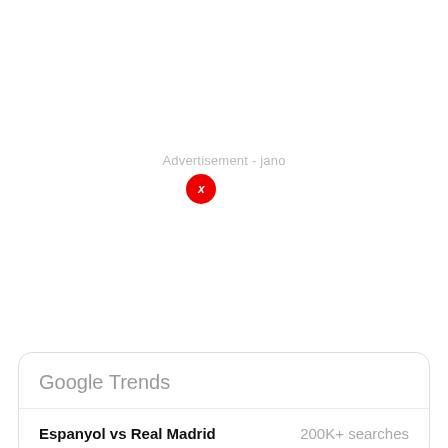[Figure (screenshot): Advertisement area with 'Advertisement - jano' label text and a red circular close button with white italic x]
Google Trends
Espanyol vs Real Madrid	200K+ searches